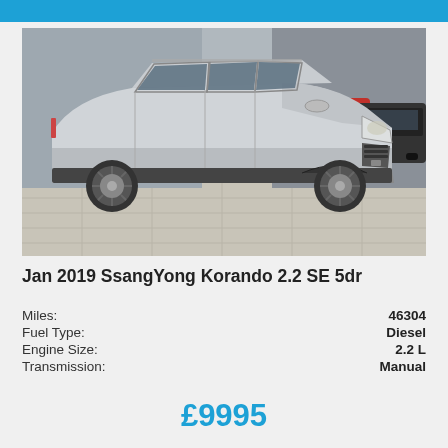[Figure (photo): Silver SsangYong Korando SUV parked in a car dealership forecourt, front three-quarter view, with other cars visible in the background.]
Jan 2019 SsangYong Korando 2.2 SE 5dr
| Attribute | Value |
| --- | --- |
| Miles: | 46304 |
| Fuel Type: | Diesel |
| Engine Size: | 2.2 L |
| Transmission: | Manual |
£9995